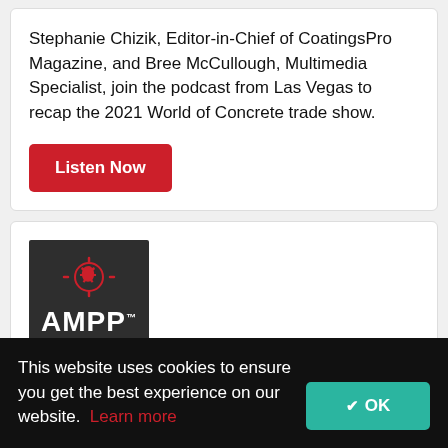Stephanie Chizik, Editor-in-Chief of CoatingsPro Magazine, and Bree McCullough, Multimedia Specialist, join the podcast from Las Vegas to recap the 2021 World of Concrete trade show.
[Figure (other): Red 'Listen Now' button]
[Figure (logo): AMPP logo on dark grey background with red circuit-like icon above white 'AMPP' text]
How AMPP Global Operations Is Handling the Merger
This website uses cookies to ensure you get the best experience on our website. Learn more
[Figure (other): Teal 'OK' button with checkmark]